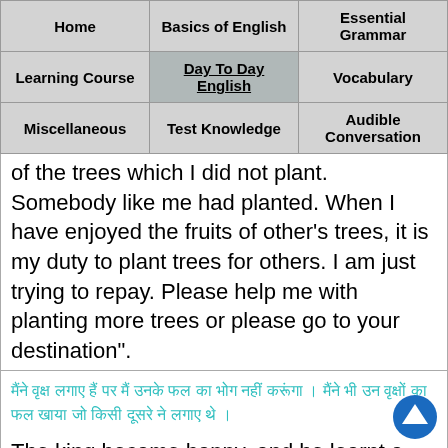| Home | Basics of English | Essential Grammar |
| --- | --- | --- |
| Learning Course | Day To Day English | Vocabulary |
| Miscellaneous | Test Knowledge | Audible Conversation |
of the trees which I did not plant. Somebody like me had planted. When I have enjoyed the fruits of other's trees, it is my duty to plant trees for others. I am just trying to repay. Please help me with planting more trees or please go to your destination".
मैंने वृक्ष लगाए हैं पर मैं उनके फल का भोग नहीं करूंगा । मैंने भी उन वृक्षों का फल खाया जो किसी दूसरे ने लगाए थे ।
The king became happy, and he learnt a lesson. Act of repayment of everything